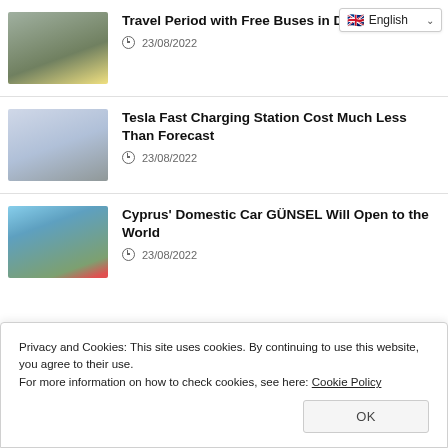Travel Period with Free Buses in Diyarbakır — 23/08/2022
Tesla Fast Charging Station Cost Much Less Than Forecast — 23/08/2022
Cyprus' Domestic Car GÜNSEL Will Open to the World — 23/08/2022
Privacy and Cookies: This site uses cookies. By continuing to use this website, you agree to their use.
For more information on how to check cookies, see here: Cookie Policy